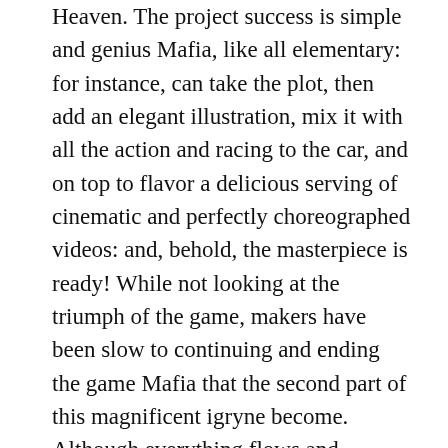Heaven. The project success is simple and genius Mafia, like all elementary: for instance, can take the plot, then add an elegant illustration, mix it with all the action and racing to the car, and on top to flavor a delicious serving of cinematic and perfectly choreographed videos: and, behold, the masterpiece is ready! While not looking at the triumph of the game, makers have been slow to continuing and ending the game Mafia that the second part of this magnificent igryne become. Although everything flows and everything changes, and looking as fans begged with tears in his eyes on the continuation of the cult game, seeing as investors pass on the game many times and did not stop, did not learn the hearts of the